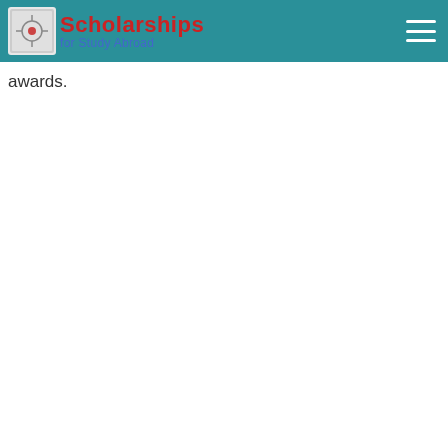[Figure (logo): Scholarships for Study Abroad logo with teal navigation bar and hamburger menu icon]
awards.